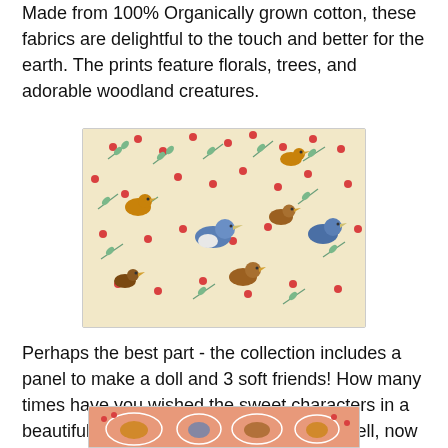Made from 100% Organically grown cotton, these fabrics are delightful to the touch and better for the earth. The prints feature florals, trees, and adorable woodland creatures.
[Figure (photo): Fabric with a floral and bird print on a cream/yellow background. Features blue and brown/yellow birds perched on branches with red berries and green leaf sprigs.]
Perhaps the best part - the collection includes a panel to make a doll and 3 soft friends! How many times have you wished the sweet characters in a beautiful print would step off the fabric? Well, now they can! Just cut, sew around the outlines, and stuff!
[Figure (photo): Partial view of a fabric panel on a peach/coral background, showing outlined characters/soft toy shapes including birds and woodland creatures.]